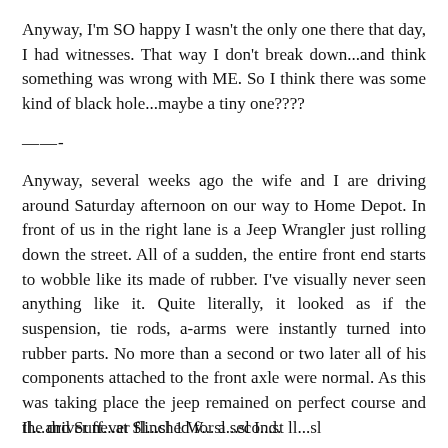Anyway, I'm SO happy I wasn't the only one there that day, I had witnesses. That way I don't break down...and think something was wrong with ME. So I think there was some kind of black hole...maybe a tiny one????
——-
Anyway, several weeks ago the wife and I are driving around Saturday afternoon on our way to Home Depot. In front of us in the right lane is a Jeep Wrangler just rolling down the street. All of a sudden, the entire front end starts to wobble like its made of rubber. I've visually never seen anything like it. Quite literally, it looked as if the suspension, tie rods, a-arms were instantly turned into rubber parts. No more than a second or two later all of his components attached to the front axle were normal. As this was taking place the jeep remained on perfect course and the driver never flinched for a second.
Il...and Suff...at Sl...sl 1 W...sl...sl I...st ll...sl